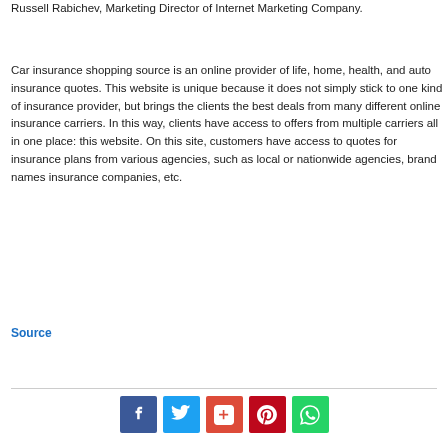Russell Rabichev, Marketing Director of Internet Marketing Company.
Car insurance shopping source is an online provider of life, home, health, and auto insurance quotes. This website is unique because it does not simply stick to one kind of insurance provider, but brings the clients the best deals from many different online insurance carriers. In this way, clients have access to offers from multiple carriers all in one place: this website. On this site, customers have access to quotes for insurance plans from various agencies, such as local or nationwide agencies, brand names insurance companies, etc.
Source
[Figure (infographic): Social media sharing buttons: Facebook (blue), Twitter (light blue), Google+ (red-orange), Pinterest (dark red), WhatsApp (green)]